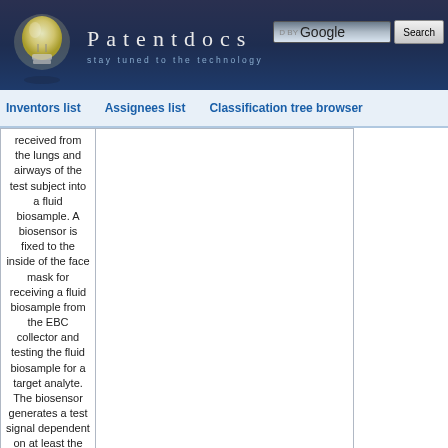[Figure (screenshot): Patentdocs website header with lightbulb logo, site title 'Patentdocs', subtitle 'stay tuned to the technology', Google search box and Search button]
Inventors list   Assignees list   Classification tree browser
|  | Patent Number | Abstract | Date |
| --- | --- | --- | --- |
|  | 20210325279 | received from the lungs and airways of the test subject into a fluid biosample. A biosensor is fixed to the inside of the face mask for receiving a fluid biosample from the EBC collector and testing the fluid biosample for a target analyte. The biosensor generates a test signal dependent on at least the presence and absence of the target analyte in the fluid biosample. An electronic circuit is fixed to an outside of the mask for receiving the test signal, determining from the test signal a test result signal depending on detecting or not detecting the target analyte, and transmitting the test result signal to a remote receiver. | 2021-10-21 |
|  |  | ULTRASOUND SYSTEM FOR SHEARING CELLULAR MATERIAL - A system for processing biological or other samples includes an array of transducer elements that are |  |